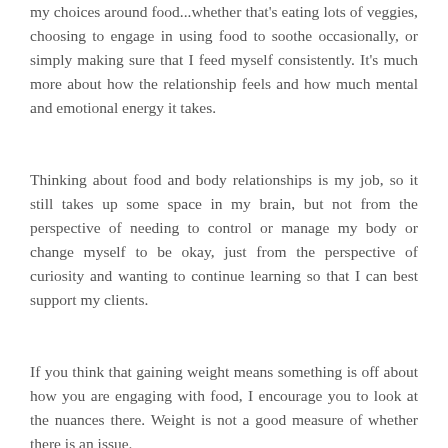my choices around food...whether that's eating lots of veggies, choosing to engage in using food to soothe occasionally, or simply making sure that I feed myself consistently. It's much more about how the relationship feels and how much mental and emotional energy it takes.
Thinking about food and body relationships is my job, so it still takes up some space in my brain, but not from the perspective of needing to control or manage my body or change myself to be okay, just from the perspective of curiosity and wanting to continue learning so that I can best support my clients.
If you think that gaining weight means something is off about how you are engaging with food, I encourage you to look at the nuances there. Weight is not a good measure of whether there is an issue.